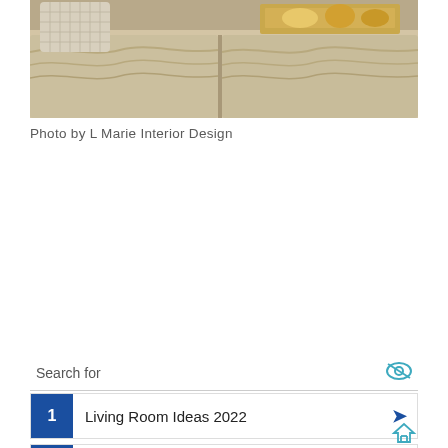[Figure (photo): Close-up photo of a beige/cream upholstered sofa with chevron-patterned fabric, decorative pillows with a grid pattern, and a gold/bronze tray accent on top.]
Photo by L Marie Interior Design
[Figure (screenshot): Search widget with two result rows: 1. Living Room Ideas 2022, 2. Modern Living Room Decor Ideas]
Living Room Ideas 2022
Modern Living Room Decor Ideas